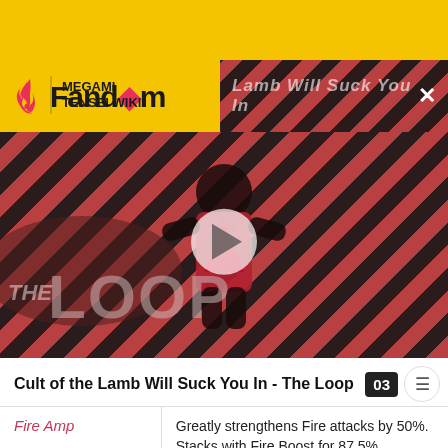[Figure (screenshot): Fandom website header with yellow background, logo, and Megami Tensei Wiki navigation. An ad overlay shows 'Lamb Will Suck You In' with a close X button. Below is a video thumbnail with diagonal stripe pattern background showing 'THE LOOP' text and a play button. Title reads 'Cult of the Lamb Will Suck You In - The Loop' with episode badge '03'.]
| Skill | Description |
| --- | --- |
| Fire Amp | Greatly strengthens Fire attacks by 50%. Stacks with Fire Boost for 87.5%. |
| Ice Boost | Strengthens Ice attacks by 25%. |
Cult of the Lamb Will Suck You In - The Loop